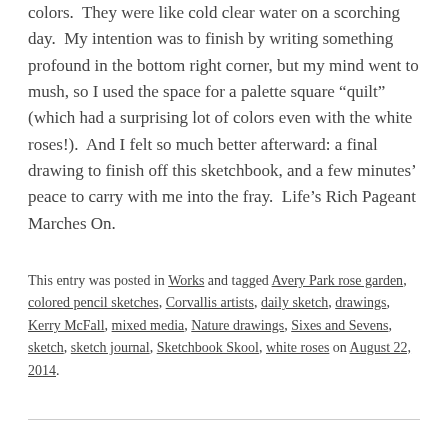colors.  They were like cold clear water on a scorching day.  My intention was to finish by writing something profound in the bottom right corner, but my mind went to mush, so I used the space for a palette square “quilt” (which had a surprising lot of colors even with the white roses!).  And I felt so much better afterward: a final drawing to finish off this sketchbook, and a few minutes’ peace to carry with me into the fray.  Life’s Rich Pageant Marches On.
This entry was posted in Works and tagged Avery Park rose garden, colored pencil sketches, Corvallis artists, daily sketch, drawings, Kerry McFall, mixed media, Nature drawings, Sixes and Sevens, sketch, sketch journal, Sketchbook Skool, white roses on August 22, 2014.